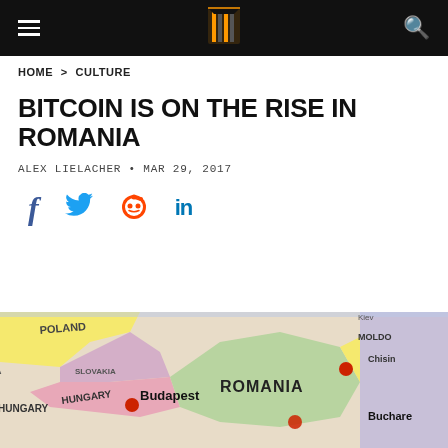HOME > CULTURE
BITCOIN IS ON THE RISE IN ROMANIA
ALEX LIELACHER • MAR 29, 2017
[Figure (other): Social share icons: Facebook, Twitter, Reddit, LinkedIn]
[Figure (map): Close-up photograph of a colorful map showing Central and Eastern Europe, featuring countries including Poland, Slovakia, Hungary, Romania, Moldova, and cities Budapest, Chisinau, Bucharest with red dots marking capital cities.]